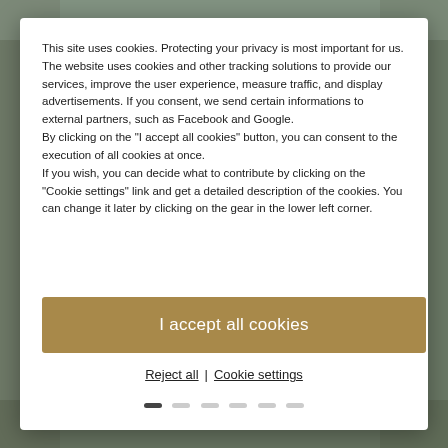[Figure (screenshot): Cookie consent modal dialog overlaid on a webpage with a background photo. Modal contains text about cookies, an accept button, and reject/settings links.]
This site uses cookies. Protecting your privacy is most important for us. The website uses cookies and other tracking solutions to provide our services, improve the user experience, measure traffic, and display advertisements. If you consent, we send certain informations to external partners, such as Facebook and Google.
By clicking on the "I accept all cookies" button, you can consent to the execution of all cookies at once.
If you wish, you can decide what to contribute by clicking on the "Cookie settings" link and get a detailed description of the cookies. You can change it later by clicking on the gear in the lower left corner.
I accept all cookies
Reject all | Cookie settings